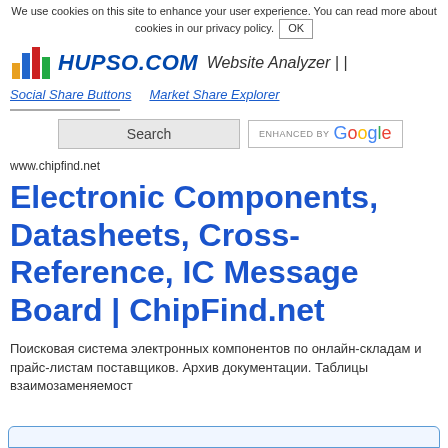We use cookies on this site to enhance your user experience. You can read more about cookies in our privacy policy. OK
[Figure (logo): Hupso.com logo with colorful bar chart icon and italic bold blue text HUPSO.COM followed by Website Analyzer]
Social Share Buttons
Market Share Explorer
Search | ENHANCED BY Google
www.chipfind.net
Electronic Components, Datasheets, Cross-Reference, IC Message Board | ChipFind.net
Поисковая система электронных компонентов по онлайн-складам и прайс-листам поставщиков. Архив документации. Таблицы взаимозаменяемост